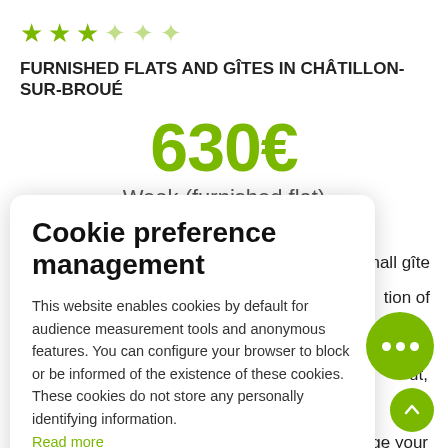[Figure (other): Star rating: 3 filled stars and 3 outline/faded stars in olive green]
FURNISHED FLATS AND GÎTES IN CHÂTILLON-SUR-BROUÉ
630€
Week (furnished flat)
Cookie preference management
This website enables cookies by default for audience measurement tools and anonymous features. You can configure your browser to block or be informed of the existence of these cookies. These cookies do not store any personally identifying information.
Read more
No thanks
I choose
Ok for me
nall gîte
tion of
in the
ut,
rms
ge your
c refuge